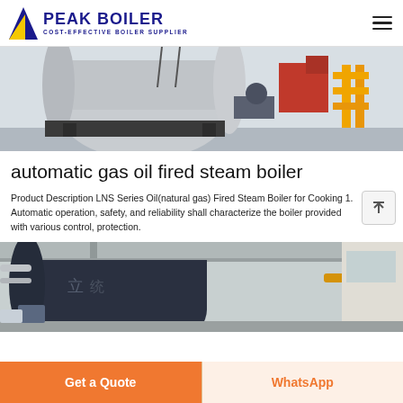PEAK BOILER — COST-EFFECTIVE BOILER SUPPLIER
[Figure (photo): Industrial gas oil fired steam boiler in a factory setting, showing large cylindrical boiler vessel with red components and yellow gas pipes]
automatic gas oil fired steam boiler
Product Description LNS Series Oil(natural gas) Fired Steam Boiler for Cooking 1. Automatic operation, safety, and reliability shall characterize the boiler provided with various control, protection.
[Figure (photo): Large dark cylindrical industrial boiler installed inside a factory building, with yellow pipes and industrial infrastructure visible]
Get a Quote | WhatsApp